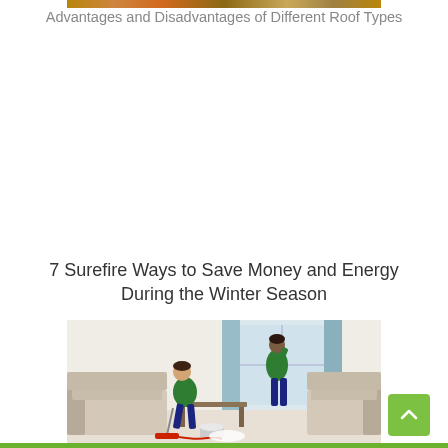[Figure (photo): Top strip of a rooftop/tiles image, partially cropped at the very top of the page]
Advantages and Disadvantages of Different Roof Types
7 Surefire Ways to Save Money and Energy During the Winter Season
[Figure (photo): Photo of two workers in green uniforms cleaning a living room. One is vacuuming the white floor and another is cleaning the window/curtains. There are beige sofas and brown furniture in the room.]